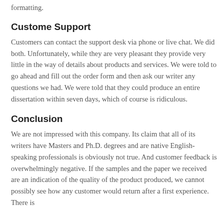formatting.
Custome Support
Customers can contact the support desk via phone or live chat. We did both. Unfortunately, while they are very pleasant they provide very little in the way of details about products and services. We were told to go ahead and fill out the order form and then ask our writer any questions we had. We were told that they could produce an entire dissertation within seven days, which of course is ridiculous.
Conclusion
We are not impressed with this company. Its claim that all of its writers have Masters and Ph.D. degrees and are native English-speaking professionals is obviously not true. And customer feedback is overwhelmingly negative. If the samples and the paper we received are an indication of the quality of the product produced, we cannot possibly see how any customer would return after a first experience. There is